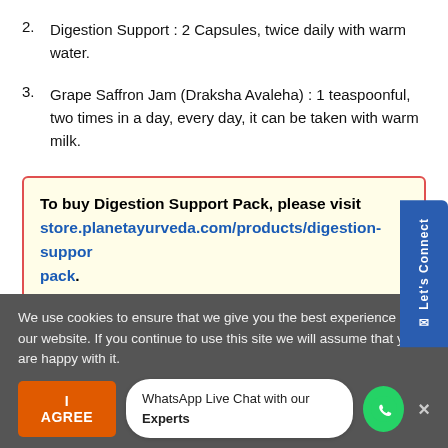2. Digestion Support : 2 Capsules, twice daily with warm water.
3. Grape Saffron Jam (Draksha Avaleha) : 1 teaspoonful, two times in a day, every day, it can be taken with warm milk.
To buy Digestion Support Pack, please visit store.planetayurveda.com/products/digestion-support-pack.
Related Links
We use cookies to ensure that we give you the best experience on our website. If you continue to use this site we will assume that you are happy with it.
WhatsApp Live Chat with our Experts